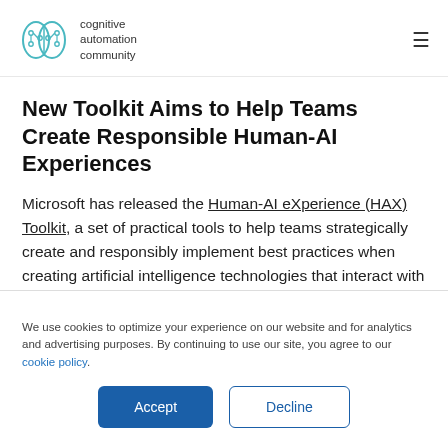cognitive automation community
New Toolkit Aims to Help Teams Create Responsible Human-AI Experiences
Microsoft has released the Human-AI eXperience (HAX) Toolkit, a set of practical tools to help teams strategically create and responsibly implement best practices when creating artificial intelligence technologies that interact with people
We use cookies to optimize your experience on our website and for analytics and advertising purposes. By continuing to use our site, you agree to our cookie policy.